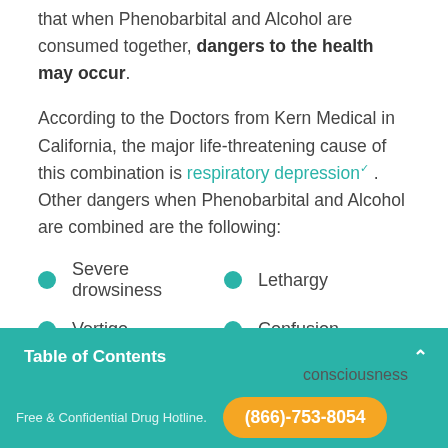that when Phenobarbital and Alcohol are consumed together, dangers to the health may occur.
According to the Doctors from Kern Medical in California, the major life-threatening cause of this combination is respiratory depression. Other dangers when Phenobarbital and Alcohol are combined are the following:
Severe drowsiness
Lethargy
Vertigo
Confusion
Table of Contents
consciousness
Free & Confidential Drug Hotline. (866)-753-8054